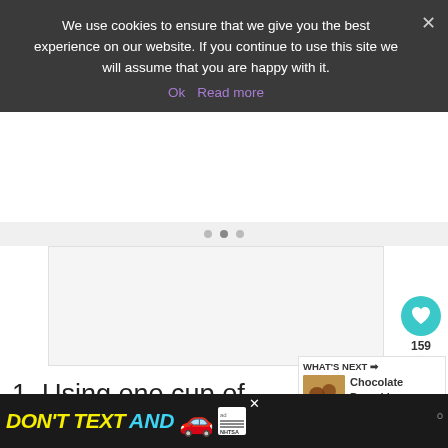We use cookies to ensure that we give you the best experience on our website. If you continue to use this site we will assume that you are happy with it.
Ok  Read more
[Figure (other): Blank image/slideshow placeholder area with three navigation dots]
[Figure (photo): Thumbnail of chocolate pumpkin cookies for 'What's Next' sidebar]
WHAT'S NEXT → Chocolate Pumpkin...
1. Using one cup of white chocolate melts at a time, place in medium
[Figure (other): Advertisement banner: DON'T TEXT AND [car emoji] ad with NHTSA logo]